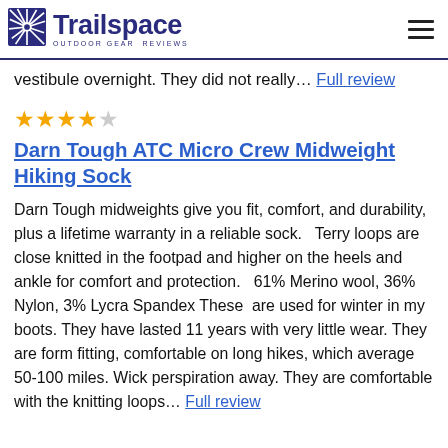Trailspace OUTDOOR GEAR REVIEWS
vestibule overnight. They did not really… Full review
★★★★☆
Darn Tough ATC Micro Crew Midweight Hiking Sock
Darn Tough midweights give you fit, comfort, and durability, plus a lifetime warranty in a reliable sock.   Terry loops are close knitted in the footpad and higher on the heels and ankle for comfort and protection.   61% Merino wool, 36% Nylon, 3% Lycra Spandex These  are used for winter in my boots. They have lasted 11 years with very little wear. They are form fitting, comfortable on long hikes, which average 50-100 miles. Wick perspiration away. They are comfortable with the knitting loops… Full review